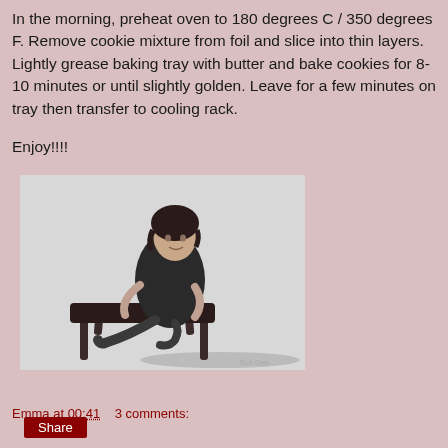In the morning, preheat oven to 180 degrees C / 350 degrees F. Remove cookie mixture from foil and slice into thin layers. Lightly grease baking tray with butter and bake cookies for 8-10 minutes or until slightly golden. Leave for a few minutes on tray then transfer to cooling rack.
Enjoy!!!!
[Figure (photo): Vintage black and white photograph of a young woman in a dark dress sitting on a small ornate bench, hugging her knees, with a small watermark at the bottom right.]
Emma at 00:41    3 comments:
Share